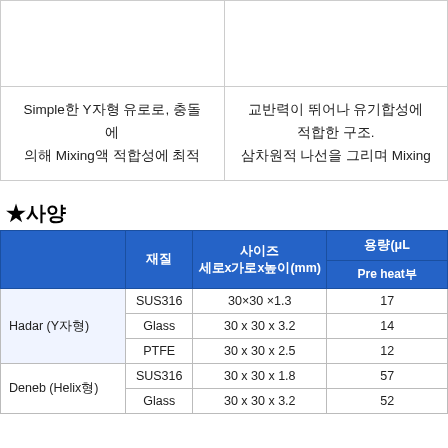|  |  |
| --- | --- |
|  |  |
| Simple한 Y자형 유로로, 충돌에 의해 Mixing액 적합성에 최적 | 교반력이 뛰어나 유기합성에 적합한 구조.
삼차원적 나선을 그리며 Mixing |
★사양
|  | 재질 | 사이즈 세로x가로x높이(mm) | 용량(μL) Pre heat부 |
| --- | --- | --- | --- |
| Hadar (Y자형) | SUS316 | 30×30 ×1.3 | 17 |
| Hadar (Y자형) | Glass | 30 x 30 x 3.2 | 14 |
| Hadar (Y자형) | PTFE | 30 x 30 x 2.5 | 12 |
| Deneb (Helix형) | SUS316 | 30 x 30 x 1.8 | 57 |
| Deneb (Helix형) | Glass | 30 x 30 x 3.2 | 52 |